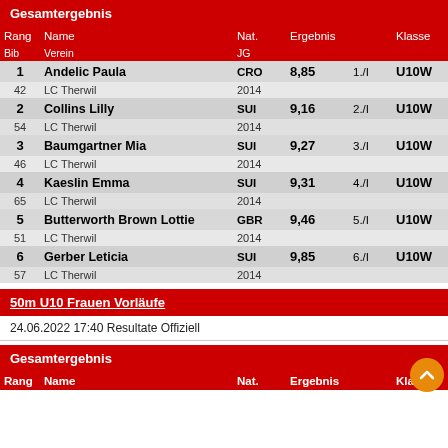Gesamtergebnis
| Rang / Bib | Name / Verein | Nat. / JG | Ergebnis |  | Klasse |
| --- | --- | --- | --- | --- | --- |
| 1 | Andelic Paula | CRO | 8,85 | 1./I | U10W |
| 42 | LC Therwil | 2014 |  |  |  |
| 2 | Collins Lilly | SUI | 9,16 | 2./I | U10W |
| 54 | LC Therwil | 2014 |  |  |  |
| 3 | Baumgartner Mia | SUI | 9,27 | 3./I | U10W |
| 46 | LC Therwil | 2014 |  |  |  |
| 4 | Kaeslin Emma | SUI | 9,31 | 4./I | U10W |
| 65 | LC Therwil | 2014 |  |  |  |
| 5 | Butterworth Brown Lottie | GBR | 9,46 | 5./I | U10W |
| 51 | LC Therwil | 2014 |  |  |  |
| 6 | Gerber Leticia | SUI | 9,85 | 6./I | U10W |
| 57 | LC Therwil | 2014 |  |  |  |
50m U10 Frauen Vorläufe
24.06.2022 17:40 Resultate Offiziell
Gesamtergebnis
| Rang | Name | Nat. | Ergebnis |  | Klasse |
| --- | --- | --- | --- | --- | --- |